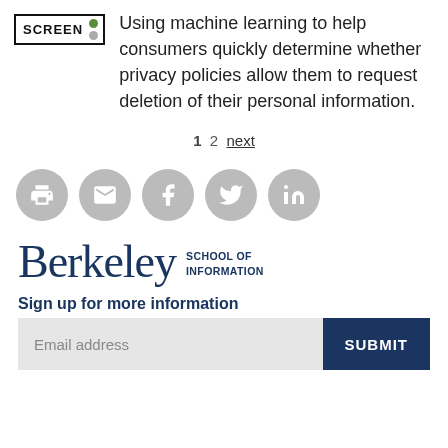[Figure (logo): SCREEN badge with traffic light icon (green dot)]
Using machine learning to help consumers quickly determine whether privacy policies allow them to request deletion of their personal information.
1  2  next
[Figure (infographic): Social sharing icons: print, email, Facebook, Twitter, LinkedIn — gray circles with white icons]
[Figure (logo): Berkeley School of Information logo]
Sign up for more information
Email address  SUBMIT